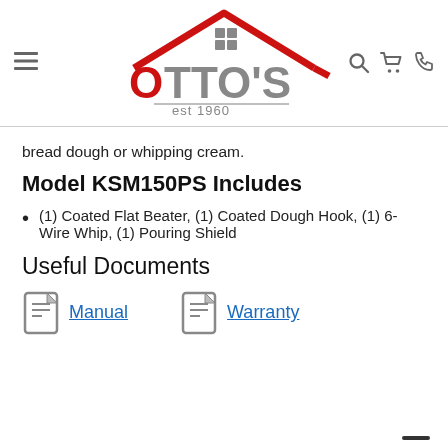OTTO'S est 1960 Home Appliance
bread dough or whipping cream.
Model KSM150PS Includes
(1) Coated Flat Beater, (1) Coated Dough Hook, (1) 6-Wire Whip, (1) Pouring Shield
Useful Documents
Manual   Warranty